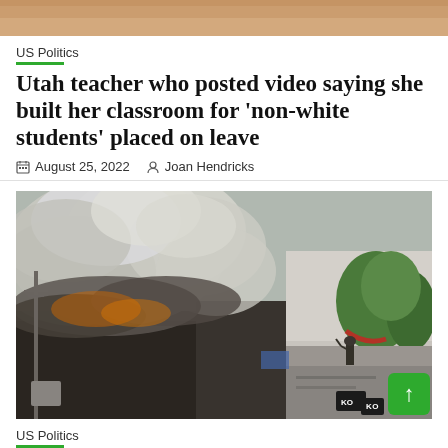[Figure (photo): Top cropped photo of a scene, partially visible at the top of the page]
US Politics
Utah teacher who posted video saying she built her classroom for 'non-white students' placed on leave
August 25, 2022   Joan Hendricks
[Figure (photo): Aerial photograph showing a building fire with thick smoke billowing from the roof, firefighters visible, green trees on the right side, and a KO news broadcast watermark in the lower right corner]
US Politics